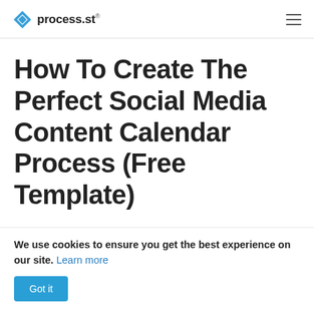process.st
How To Create The Perfect Social Media Content Calendar Process (Free Template)
Aidan Nickerson
October 21, 2020
We use cookies to ensure you get the best experience on our site. Learn more
Got it